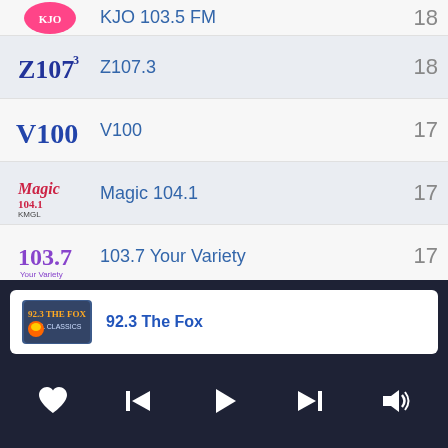KJO 103.5 FM — 18 (partial, top cut off)
Z107.3 — 18
V100 — 17
Magic 104.1 — 17
103.7 Your Variety — 17
The New 95.1 KBBY — 17
WARM 103.3 FM — 17
Now playing: 92.3 The Fox
[Figure (screenshot): Media player controls: heart/like, skip-back, play, skip-forward, volume]